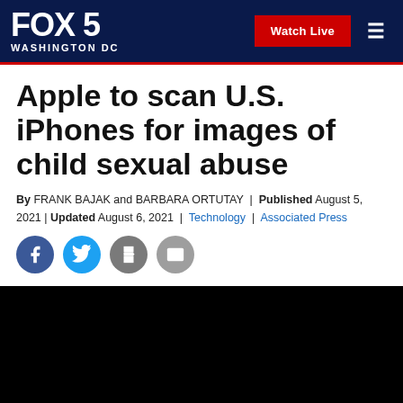FOX 5 WASHINGTON DC | Watch Live
Apple to scan U.S. iPhones for images of child sexual abuse
By FRANK BAJAK and BARBARA ORTUTAY | Published August 5, 2021 | Updated August 6, 2021 | Technology | Associated Press
[Figure (screenshot): Social sharing icons: Facebook, Twitter, Print, Email]
[Figure (photo): Black video player embed area]